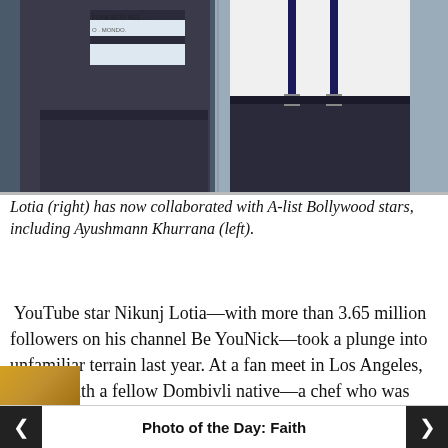[Figure (photo): Two men standing side by side. The person on the left wears a dark jacket and a striped shirt with text. The person on the right wears a white shirt with dark suspenders and dark trousers. Photo is cropped at torso level.]
Lotia (right) has now collaborated with A-list Bollywood stars, including Ayushmann Khurrana (left).
YouTube star Nikunj Lotia—with more than 3.65 million followers on his channel Be YouNick—took a plunge into unfamiliar terrain last year. At a fan meet in Los Angeles, he met with a fellow Dombivli native—a chef who was
Photo of the Day: Faith